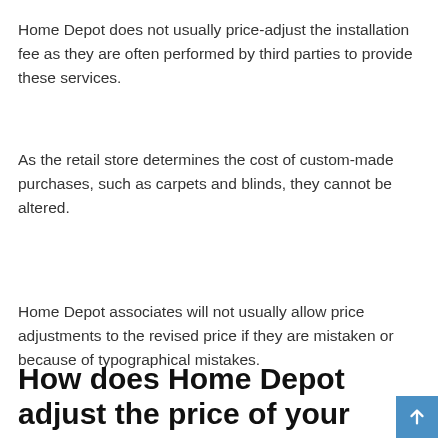Home Depot does not usually price-adjust the installation fee as they are often performed by third parties to provide these services.
As the retail store determines the cost of custom-made purchases, such as carpets and blinds, they cannot be altered.
Home Depot associates will not usually allow price adjustments to the revised price if they are mistaken or because of typographical mistakes.
How does Home Depot adjust the price of your